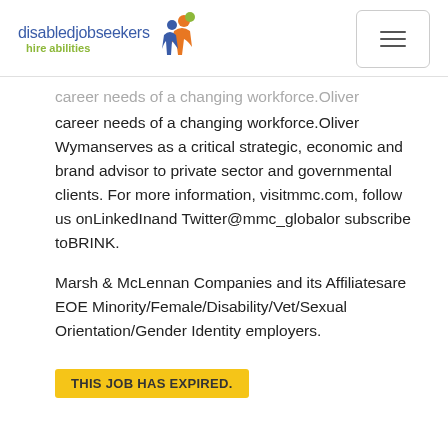disabledjobseekers hire abilities
career needs of a changing workforce.Oliver Wymanserves as a critical strategic, economic and brand advisor to private sector and governmental clients. For more information, visitmmc.com, follow us onLinkedInand Twitter@mmc_globalor subscribe toBRINK.
Marsh & McLennan Companies and its Affiliatesare EOE Minority/Female/Disability/Vet/Sexual Orientation/Gender Identity employers.
THIS JOB HAS EXPIRED.